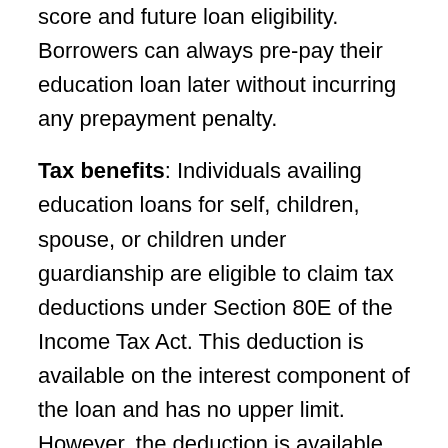score and future loan eligibility. Borrowers can always pre-pay their education loan later without incurring any prepayment penalty.
Tax benefits: Individuals availing education loans for self, children, spouse, or children under guardianship are eligible to claim tax deductions under Section 80E of the Income Tax Act. This deduction is available on the interest component of the loan and has no upper limit. However, the deduction is available for only eight years from the day of the commencement of EMIs. Therefore, borrowers should try to repay their loan within 8 years to maximise tax benefits.
Collaterals/Guarantor of loan: Lenders usually do not insist on collateral or third-party guarantee for education loans of up to Rs 4 lakh. Some lenders like